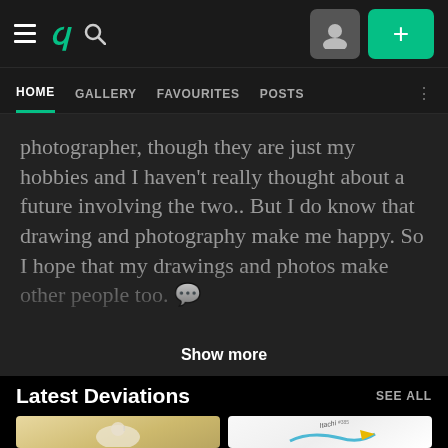[Figure (screenshot): DeviantArt top navigation bar with hamburger menu, DA logo, search icon, profile button, and green add button]
HOME   GALLERY   FAVOURITES   POSTS
photographer, though they are just my hobbies and I haven't really thought about a future involving the two.. But I do know that drawing and photography make me happy. So I hope that my drawings and photos make other people too.
Show more
Latest Deviations
SEE ALL
[Figure (illustration): Two artwork thumbnails: left shows an illustrated character in white clothing with speech bubble on warm background, right shows a sketch with '#385' annotation and teal/yellow colored artwork]